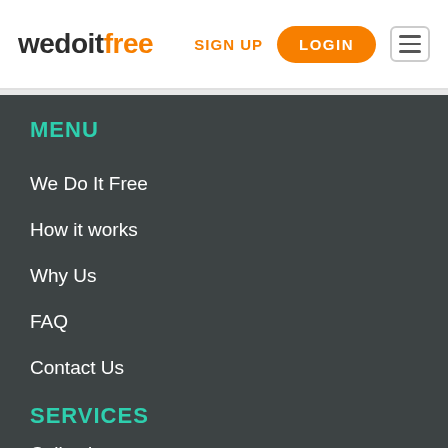wedoitfree — SIGN UP — LOGIN
MENU
We Do It Free
How it works
Why Us
FAQ
Contact Us
SERVICES
Collections